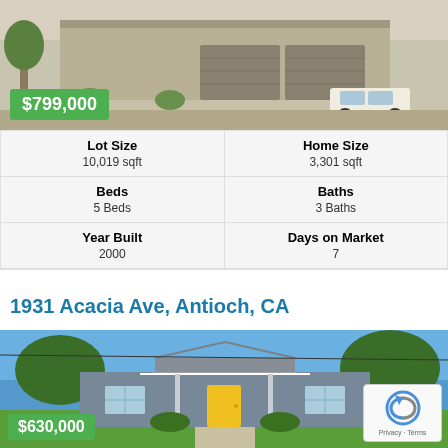[Figure (photo): Exterior photo of a house with three-car garage, beige/tan exterior, and a white car in the driveway]
$799,000
| Lot Size | Home Size |
| --- | --- |
| 10,019 sqft | 3,301 sqft |
| Beds | Baths |
| 5 Beds | 3 Baths |
| Year Built | Days on Market |
| 2000 | 7 |
1931 Acacia Ave, Antioch, CA
[Figure (photo): Exterior photo of a single-story ranch house with gray exterior, yellow front door, green lawn, and blue sky background]
$630,000